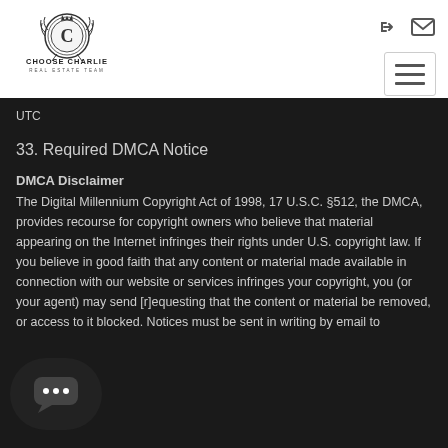[Figure (logo): Choose Charlie Real Estate Team logo — circular emblem with letter C, decorative wreath, and stylized text below]
UTC
33. Required DMCA Notice
DMCA Disclaimer
The Digital Millennium Copyright Act of 1998, 17 U.S.C. §512, the DMCA, provides recourse for copyright owners who believe that material appearing on the Internet infringes their rights under U.S. copyright law. If you believe in good faith that any content or material made available in connection with our website or services infringes your copyright, you (or your agent) may send [r]equesting that the content or material be removed, or access to it blocked. Notices must be sent in writing by email to